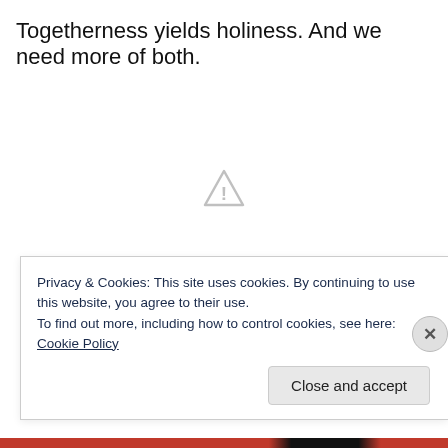Togetherness yields holiness. And we need more of both.
[Figure (other): Warning/caution triangle icon (light gray outline, exclamation mark inside) centered in the white content area]
Privacy & Cookies: This site uses cookies. By continuing to use this website, you agree to their use.
To find out more, including how to control cookies, see here: Cookie Policy
Close and accept